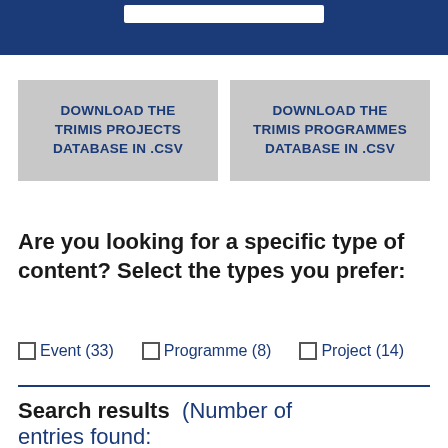DOWNLOAD THE TRIMIS PROJECTS DATABASE IN .CSV
DOWNLOAD THE TRIMIS PROGRAMMES DATABASE IN .CSV
Are you looking for a specific type of content? Select the types you prefer:
Event (33)
Programme (8)
Project (14)
Search results (Number of entries found: